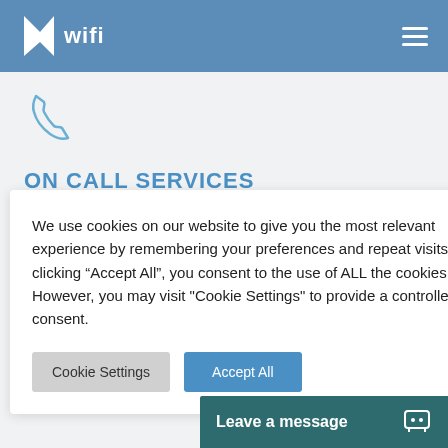NW wifi
[Figure (illustration): Phone/call icon in blue outline style]
ON CALL SERVICES
support and
We use cookies on our website to give you the most relevant experience by remembering your preferences and repeat visits. By clicking “Accept All”, you consent to the use of ALL the cookies. However, you may visit "Cookie Settings" to provide a controlled consent.
Cookie Settings
Accept All
in house to
ng, porting, and
Leave a message